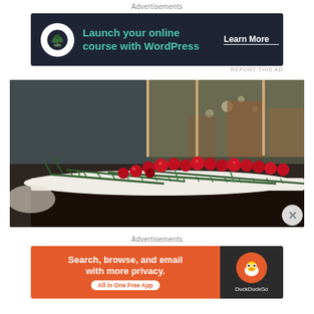Advertisements
[Figure (other): Advertisement banner: dark navy background, white circle with bonsai tree icon, teal text 'Launch your online course with WordPress', white 'Learn More' button with underline]
REPORT THIS AD
[Figure (photo): Close-up photo of a dark chocolate cake topped with white cream frosting, fresh rosemary sprigs, and red cranberries. Wooden skewers stick up from the top. Blurred dining room background with bokeh lights.]
Advertisements
[Figure (other): DuckDuckGo advertisement banner: orange left side with white text 'Search, browse, and email with more privacy. All in One Free App', dark right side with DuckDuckGo duck logo and brand name]